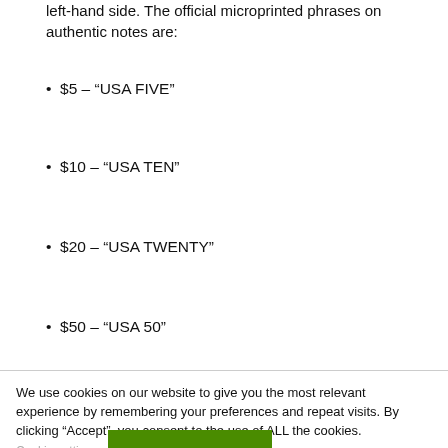left-hand side. The official microprinted phrases on authentic notes are:
$5 – "USA FIVE"
$10 – "USA TEN"
$20 – "USA TWENTY"
$50 – "USA 50"
We use cookies on our website to give you the most relevant experience by remembering your preferences and repeat visits. By clicking “Accept”, you consent to the use of ALL the cookies.